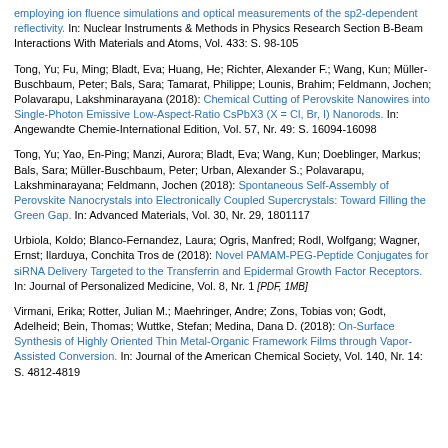employing ion fluence simulations and optical measurements of the sp2-dependent reflectivity. In: Nuclear Instruments & Methods in Physics Research Section B-Beam Interactions With Materials and Atoms, Vol. 433: S. 98-105
Tong, Yu; Fu, Ming; Bladt, Eva; Huang, He; Richter, Alexander F.; Wang, Kun; Müller-Buschbaum, Peter; Bals, Sara; Tamarat, Philippe; Lounis, Brahim; Feldmann, Jochen; Polavarapu, Lakshminarayana (2018): Chemical Cutting of Perovskite Nanowires into Single-Photon Emissive Low-Aspect-Ratio CsPbX3 (X = Cl, Br, I) Nanorods. In: Angewandte Chemie-International Edition, Vol. 57, Nr. 49: S. 16094-16098
Tong, Yu; Yao, En-Ping; Manzi, Aurora; Bladt, Eva; Wang, Kun; Doeblinger, Markus; Bals, Sara; Müller-Buschbaum, Peter; Urban, Alexander S.; Polavarapu, Lakshminarayana; Feldmann, Jochen (2018): Spontaneous Self-Assembly of Perovskite Nanocrystals into Electronically Coupled Supercrystals: Toward Filling the Green Gap. In: Advanced Materials, Vol. 30, Nr. 29, 1801117
Urbiola, Koldo; Blanco-Fernandez, Laura; Ogris, Manfred; Rodl, Wolfgang; Wagner, Ernst; Ilarduya, Conchita Tros de (2018): Novel PAMAM-PEG-Peptide Conjugates for siRNA Delivery Targeted to the Transferrin and Epidermal Growth Factor Receptors. In: Journal of Personalized Medicine, Vol. 8, Nr. 1 [PDF, 1MB]
Virmani, Erika; Rotter, Julian M.; Maehringer, Andre; Zons, Tobias von; Godt, Adelheid; Bein, Thomas; Wuttke, Stefan; Medina, Dana D. (2018): On-Surface Synthesis of Highly Oriented Thin Metal-Organic Framework Films through Vapor-Assisted Conversion. In: Journal of the American Chemical Society, Vol. 140, Nr. 14: S. 4812-4819